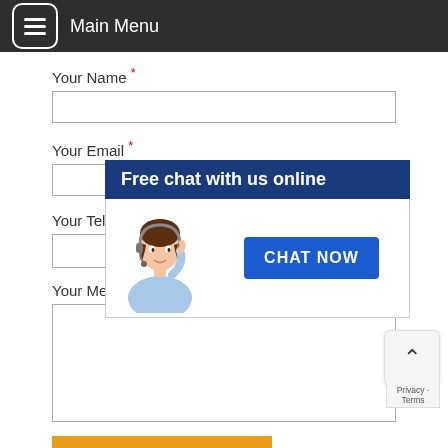Main Menu
Your Name *
Your Email *
[Figure (infographic): Live chat widget overlay showing 'Free chat with us online' header in dark blue, a cartoon female customer service agent with headset, and a 'CHAT NOW' button in blue]
Your Tel
Your Me
Send a message